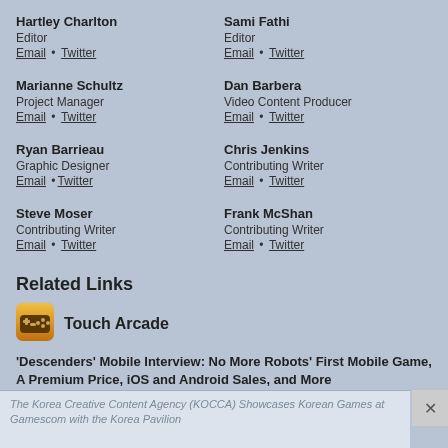Hartley Charlton
Editor
Email • Twitter
Sami Fathi
Editor
Email • Twitter
Marianne Schultz
Project Manager
Email • Twitter
Dan Barbera
Video Content Producer
Email • Twitter
Ryan Barrieau
Graphic Designer
Email •Twitter
Chris Jenkins
Contributing Writer
Email • Twitter
Steve Moser
Contributing Writer
Email • Twitter
Frank McShan
Contributing Writer
Email • Twitter
Related Links
[Figure (logo): Touch Arcade logo icon - golden game controller icon]
Touch Arcade
'Descenders' Mobile Interview: No More Robots' First Mobile Game, A Premium Price, iOS and Android Sales, and More
The Korea Creative Content Agency (KOCCA) Showcases Korean Games at Gamescom with the Korea Pavilion